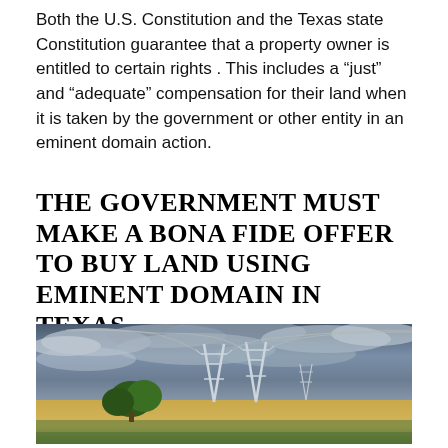Both the U.S. Constitution and the Texas state Constitution guarantee that a property owner is entitled to certain rights . This includes a “just” and “adequate” compensation for their land when it is taken by the government or other entity in an eminent domain action.
THE GOVERNMENT MUST MAKE A BONA FIDE OFFER TO BUY LAND USING EMINENT DOMAIN IN TEXAS
[Figure (photo): Photograph of high-voltage electricity transmission towers standing in an open agricultural field under a dramatic stormy cloudy sky. A small group of green trees is visible at left. The field shows golden wheat/grain and green grass in the foreground.]